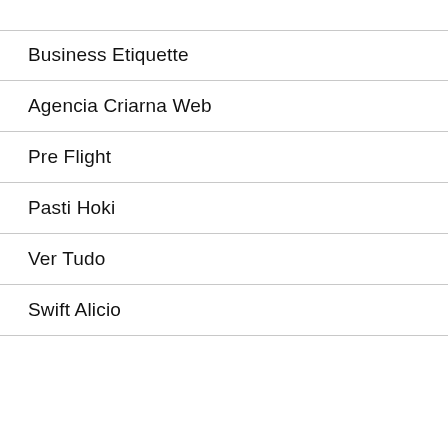Business Etiquette
Agencia Criarna Web
Pre Flight
Pasti Hoki
Ver Tudo
Swift Alicio